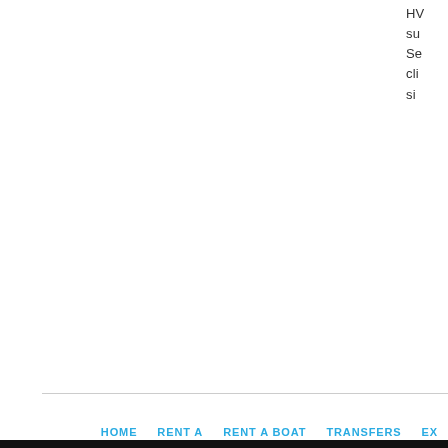HV su Se cli si
HOME   RENT A   RENT A BOAT   TRANSFERS   EX